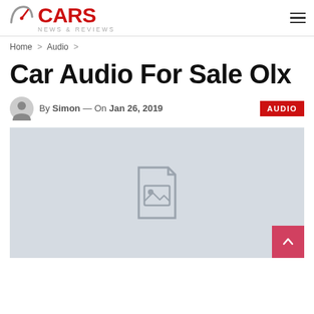CARS NEWS & REVIEWS
Home > Audio >
Car Audio For Sale Olx
By Simon — On Jan 26, 2019  AUDIO
[Figure (photo): Placeholder image with broken image icon on light grey background]